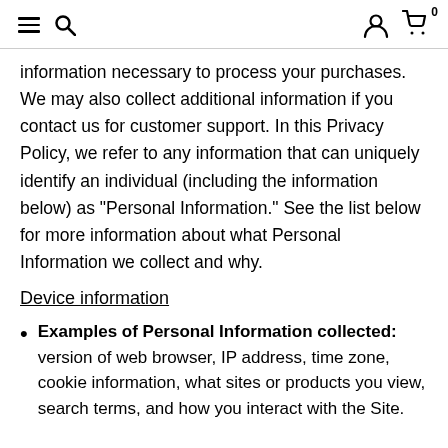≡ 🔍  👤 🛒 0
information necessary to process your purchases. We may also collect additional information if you contact us for customer support. In this Privacy Policy, we refer to any information that can uniquely identify an individual (including the information below) as "Personal Information." See the list below for more information about what Personal Information we collect and why.
Device information
Examples of Personal Information collected: version of web browser, IP address, time zone, cookie information, what sites or products you view, search terms, and how you interact with the Site.